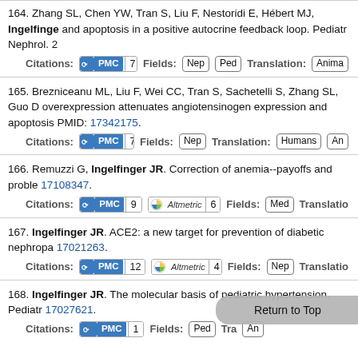164. Zhang SL, Chen YW, Tran S, Liu F, Nestoridi E, Hébert MJ, Ingelfinger... and apoptosis in a positive autocrine feedback loop. Pediatr Nephrol. 2... Citations: PMC 7 Fields: Nep Ped Translation: Animal
165. Brezniceanu ML, Liu F, Wei CC, Tran S, Sachetelli S, Zhang SL, Guo D... overexpression attenuates angiotensinogen expression and apoptosis... PMID: 17342175. Citations: PMC 75 Fields: Nep Translation: Humans An
166. Remuzzi G, Ingelfinger JR. Correction of anemia--payoffs and proble... 17108347. Citations: PMC 9 Altmetric 6 Fields: Med Translatio
167. Ingelfinger JR. ACE2: a new target for prevention of diabetic nephropa... 17021263. Citations: PMC 12 Altmetric 4 Fields: Nep Translatio
168. Ingelfinger JR. The molecular basis of pediatric hypertension. Pediatr... 17027621. Citations: PMC 1 Fields: Ped Tra... An